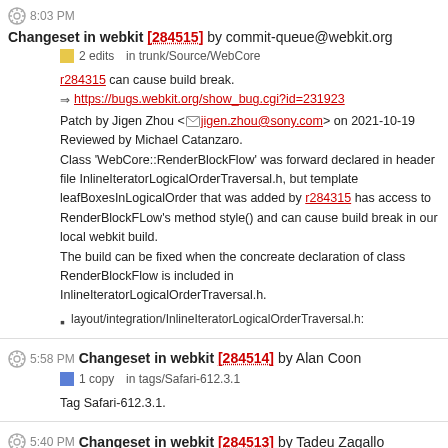8:03 PM Changeset in webkit [284515] by commit-queue@webkit.org
2 edits in trunk/Source/WebCore
r284315 can cause build break.
https://bugs.webkit.org/show_bug.cgi?id=231923
Patch by Jigen Zhou <jigen.zhou@sony.com> on 2021-10-19
Reviewed by Michael Catanzaro.
Class 'WebCore::RenderBlockFlow' was forward declared in header file InlineIteratorLogicalOrderTraversal.h, but template leafBoxesInLogicalOrder that was added by r284315 has access to RenderBlockFLow's method style() and can cause build break in our local webkit build.
The build can be fixed when the concreate declaration of class RenderBlockFlow is included in InlineIteratorLogicalOrderTraversal.h.
layout/integration/InlineIteratorLogicalOrderTraversal.h:
5:58 PM Changeset in webkit [284514] by Alan Coon
1 copy in tags/Safari-612.3.1
Tag Safari-612.3.1.
5:40 PM Changeset in webkit [284513] by Tadeu Zagallo
10 edits in trunk/Source/JavaScriptCore
Address post-landing feedback to wasm exceptions